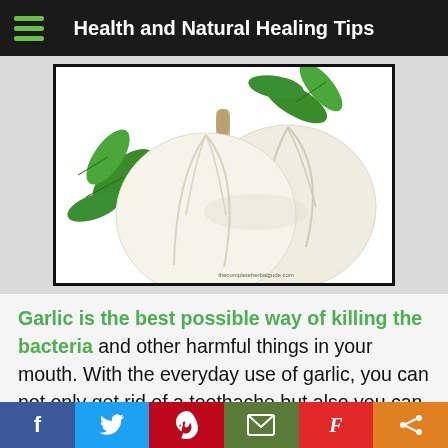Health and Natural Healing Tips
[Figure (photo): Two garlic bulbs with green parsley leaves on a white background, watermark reads thecompleteherbalgude.com]
Garlic is the best possible way of killing the bacteria and other harmful things in your mouth. With the everyday use of garlic, you can not only get rid of a toothache but also you can cure it as well. To do this properly, you need to
Social share bar: Facebook, Twitter, Pinterest, Email, Flipboard, Share